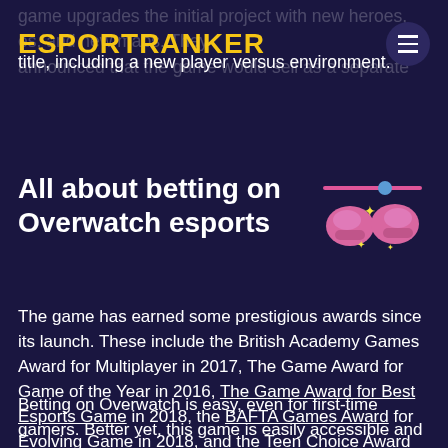ESPORTRANKER
game upgrades the initial project with new heroes, es, and new maps. They announced that the game would sell as a separate title, including a new player versus environment.
All about betting on Overwatch esports
[Figure (illustration): Decorative esports boxing gloves illustration with stars]
The game has earned some prestigious awards since its launch. These include the British Academy Games Award for Multiplayer in 2017, The Game Award for Game of the Year in 2016, The Game Award for Best Esports Game in 2018, the BAFTA Games Award for Evolving Game in 2018, and the Teen Choice Award for Choice Video Game.
Betting on Overwatch is easy, even for first-time gamers. Better yet, this game is easily accessible and has direct betting markets. Several top eSports